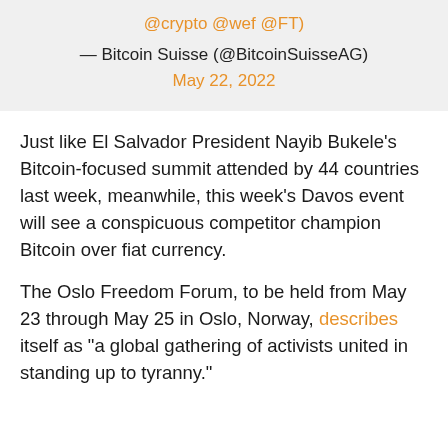@crypto @wef @FT)
— Bitcoin Suisse (@BitcoinSuisseAG) May 22, 2022
Just like El Salvador President Nayib Bukele's Bitcoin-focused summit attended by 44 countries last week, meanwhile, this week's Davos event will see a conspicuous competitor champion Bitcoin over fiat currency.
The Oslo Freedom Forum, to be held from May 23 through May 25 in Oslo, Norway, describes itself as "a global gathering of activists united in standing up to tyranny."